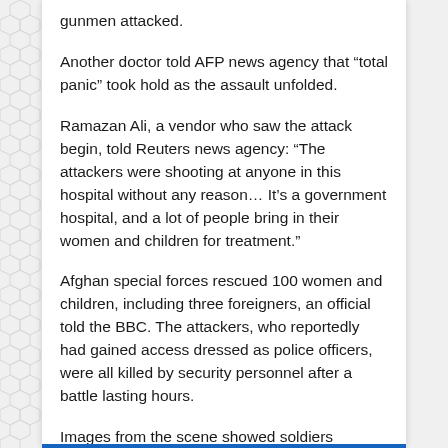gunmen attacked.
Another doctor told AFP news agency that “total panic” took hold as the assault unfolded.
Ramazan Ali, a vendor who saw the attack begin, told Reuters news agency: “The attackers were shooting at anyone in this hospital without any reason… It’s a government hospital, and a lot of people bring in their women and children for treatment.”
Afghan special forces rescued 100 women and children, including three foreigners, an official told the BBC. The attackers, who reportedly had gained access dressed as police officers, were all killed by security personnel after a battle lasting hours.
Images from the scene showed soldiers carrying one newborn baby to safety, swaddled in a blood-stained blanket.
Many foreign staff live in a guesthouse behind the Dasht-e-Barchi Hospital and a doctor who fled the building told the BBC he saw an explosion there